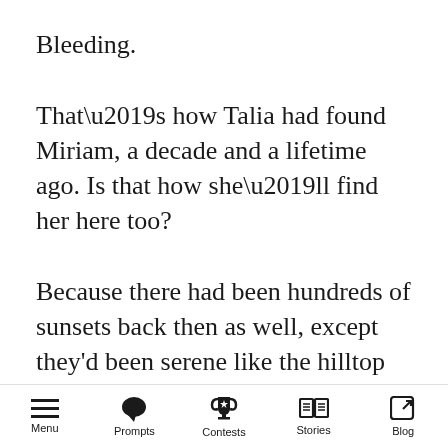Bleeding.
That’s how Talia had found Miriam, a decade and a lifetime ago. Is that how she’ll find her here too?
Because there had been hundreds of sunsets back then as well, except they'd been serene like the hilltop air they'd filled with laughter and gorgeous like the dress of caddisfly silk Talia had
Menu  Prompts  Contests  Stories  Blog